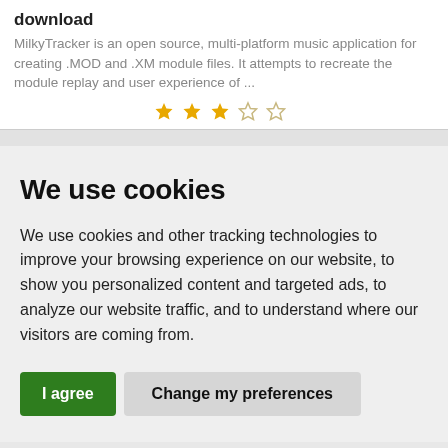download
MilkyTracker is an open source, multi-platform music application for creating .MOD and .XM module files. It attempts to recreate the module replay and user experience of ...
[Figure (other): Star rating: 3 filled/yellow stars and 2 empty/outline stars]
We use cookies
We use cookies and other tracking technologies to improve your browsing experience on our website, to show you personalized content and targeted ads, to analyze our website traffic, and to understand where our visitors are coming from.
I agree   Change my preferences